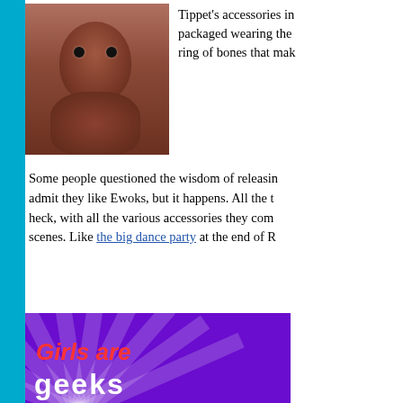[Figure (photo): A dark reddish-brown Ewok action figure (Tippet) shown against a light background]
Tippet's accessories in packaged wearing the ring of bones that mak
Some people questioned the wisdom of releasing admit they like Ewoks, but it happens. All the t heck, with all the various accessories they com scenes. Like the big dance party at the end of R
[Figure (logo): Girls are geeks banner/logo with purple background and ray burst design. Text reads 'Girls are geeks' in red and white italic lettering.]